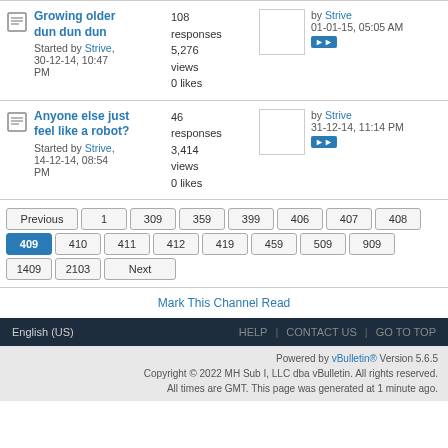Growing older dun dun dun — Started by Strive, 30-12-14, 10:47 PM — 108 responses, 5,276 views, 0 likes — by Strive, 01-01-15, 05:05 AM
Anyone else just feel like a robot? — Started by Strive, 14-12-14, 08:54 PM — 46 responses, 3,414 views, 0 likes — by Strive, 31-12-14, 11:14 PM
Pagination: Previous 1 309 359 399 406 407 408 409 (current) 410 411 412 419 459 509 909 1409 2103 Next
Mark This Channel Read
English (US) | HELP | CONTACT US | GO TO TOP
Powered by vBulletin® Version 5.6.5 Copyright © 2022 MH Sub I, LLC dba vBulletin. All rights reserved. All times are GMT. This page was generated at 1 minute ago.